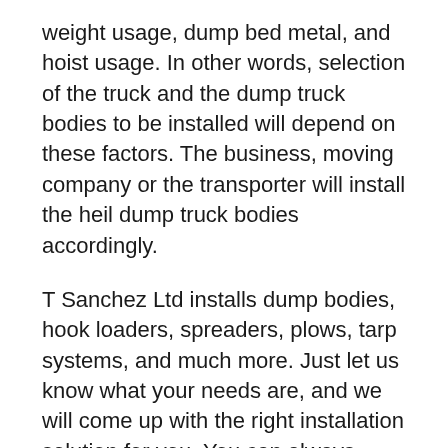weight usage, dump bed metal, and hoist usage. In other words, selection of the truck and the dump truck bodies to be installed will depend on these factors. The business, moving company or the transporter will install the heil dump truck bodies accordingly.
T Sanchez Ltd installs dump bodies, hook loaders, spreaders, plows, tarp systems, and much more. Just let us know what your needs are, and we will come up with the right installation solution for you. You can always count on us to ensure that your goods are going to be moved without a hitch. The company has been providing heavy construction equipment and hauling material with tandems and tri-axle dump...